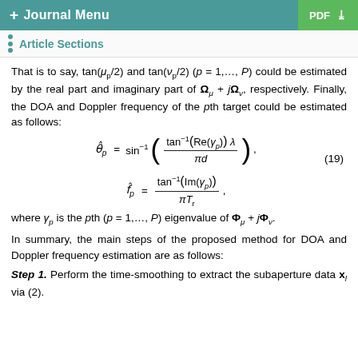+ Journal Menu | PDF
Article Sections
That is to say, tan(μ_p/2) and tan(ν_p/2) (p = 1,...,P) could be estimated by the real part and imaginary part of Ω_μ + jΩ_ν, respectively. Finally, the DOA and Doppler frequency of the pth target could be estimated as follows:
where γ_p is the pth (p = 1,...,P) eigenvalue of Φ_μ + jΦ_ν.
In summary, the main steps of the proposed method for DOA and Doppler frequency estimation are as follows:
Step 1. Perform the time-smoothing to extract the subaperture data x_l via (2).